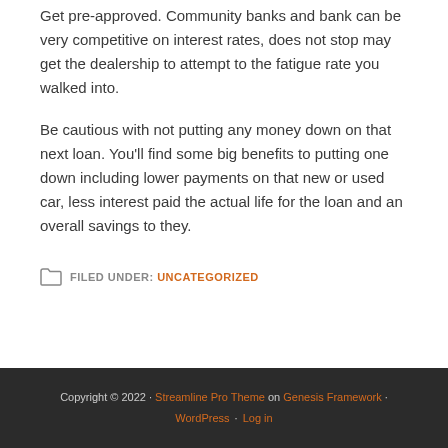Get pre-approved. Community banks and bank can be very competitive on interest rates, does not stop may get the dealership to attempt to the fatigue rate you walked into.
Be cautious with not putting any money down on that next loan. You'll find some big benefits to putting one down including lower payments on that new or used car, less interest paid the actual life for the loan and an overall savings to they.
FILED UNDER: UNCATEGORIZED
Copyright © 2022 · Streamline Pro Theme on Genesis Framework · WordPress · Log in